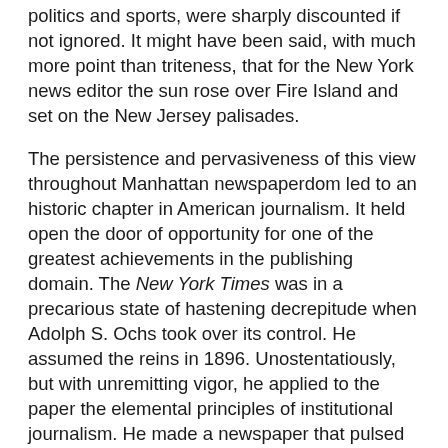politics and sports, were sharply discounted if not ignored. It might have been said, with much more point than triteness, that for the New York news editor the sun rose over Fire Island and set on the New Jersey palisades.
The persistence and pervasiveness of this view throughout Manhattan newspaperdom led to an historic chapter in American journalism. It held open the door of opportunity for one of the greatest achievements in the publishing domain. The New York Times was in a precarious state of hastening decrepitude when Adolph S. Ochs took over its control. He assumed the reins in 1896. Unostentatiously, but with unremitting vigor, he applied to the paper the elemental principles of institutional journalism. He made a newspaper that pulsed with responsibility to its readers and to its obligations in their behalf. He employed the same methods he had found successful with the Times in the little Tennessee city of Chattanooga.
For several years his progress was so gradual that it almost escaped competitive notice. No factor of this growth was more substantial than the Times's telegraphic news reports.